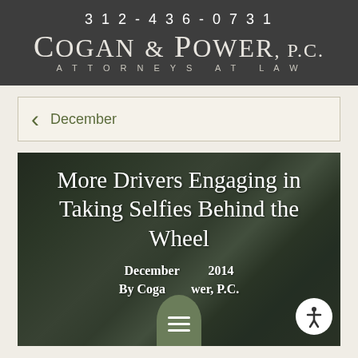312-436-0731
COGAN & POWER, P.C.
ATTORNEYS AT LAW
December
[Figure (photo): Background photo of a car interior/steering wheel area, darkened, with article title overlay text reading 'More Drivers Engaging in Taking Selfies Behind the Wheel', date 'December 2014', and author 'By Cogan & Power, P.C.']